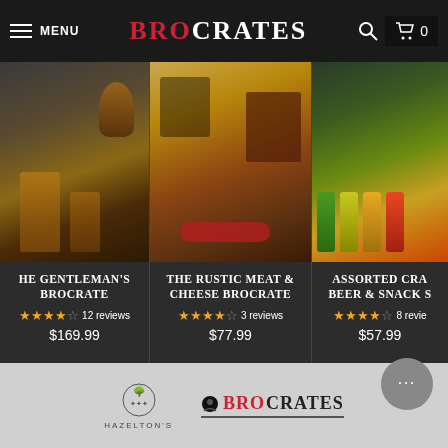MENU | BROCRATES | Search | Cart 0
[Figure (screenshot): Product card: The Gentleman's Brocrate - whiskey decanter set gift box, 4.5 stars, 12 reviews, $169.99]
[Figure (screenshot): Product card: The Rustic Meat & Cheese Brocrate - charcuterie gift box, 4.5 stars, 3 reviews, $77.99]
[Figure (screenshot): Product card: Assorted Craft Beer & Snack Set - beer cans gift box, 4.5 stars, 8 reviews, $57.99]
[Figure (logo): Hazelton's logo - tree emblem with HAZELTON'S text]
[Figure (logo): BroCrates logo - BRO in red, CRATES in black, with underline]
[Figure (illustration): Chat bubble icon - grey circle with three dots]